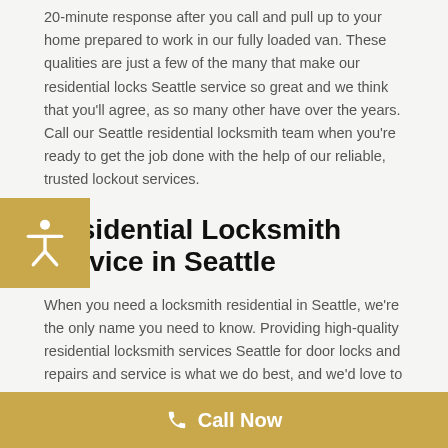20-minute response after you call and pull up to your home prepared to work in our fully loaded van. These qualities are just a few of the many that make our residential locks Seattle service so great and we think that you'll agree, as so many other have over the years. Call our Seattle residential locksmith team when you're ready to get the job done with the help of our reliable, trusted lockout services.
Residential Locksmith Service in Seattle
When you need a locksmith residential in Seattle, we're the only name you need to know. Providing high-quality residential locksmith services Seattle for door locks and repairs and service is what we do best, and we'd love to prove this to you firsthand. We offer an abundance of lockout services Seattle when it comes to your home security; whether you've experienced a home lockout, need new keys, or have other concerns. Our locks